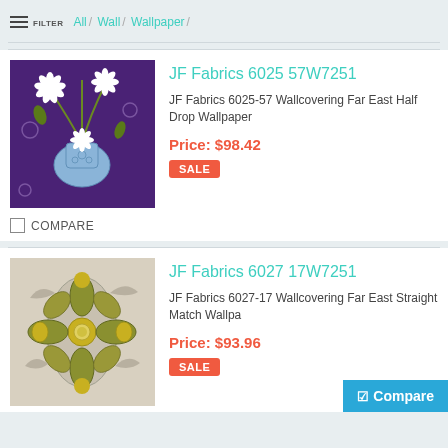FILTER / All / Wall / Wallpaper /
JF Fabrics 6025 57W7251
JF Fabrics 6025-57 Wallcovering Far East Half Drop Wallpaper
Price: $98.42
SALE
COMPARE
JF Fabrics 6027 17W7251
JF Fabrics 6027-17 Wallcovering Far East Straight Match Wallpaper
Price: $93.96
SALE
Compare